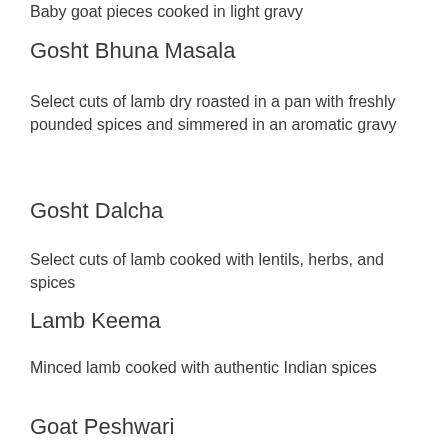Baby goat pieces cooked in light gravy
Gosht Bhuna Masala
Select cuts of lamb dry roasted in a pan with freshly pounded spices and simmered in an aromatic gravy
Gosht Dalcha
Select cuts of lamb cooked with lentils, herbs, and spices
Lamb Keema
Minced lamb cooked with authentic Indian spices
Goat Peshwari